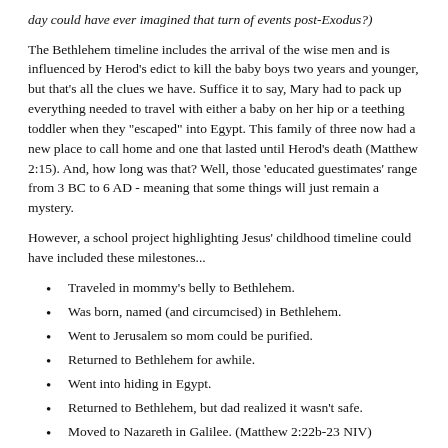day could have ever imagined that turn of events post-Exodus?)
The Bethlehem timeline includes the arrival of the wise men and is influenced by Herod’s edict to kill the baby boys two years and younger, but that's all the clues we have. Suffice it to say, Mary had to pack up everything needed to travel with either a baby on her hip or a teething toddler when they "escaped" into Egypt. This family of three now had a new place to call home and one that lasted until Herod’s death (Matthew 2:15). And, how long was that? Well, those ‘educated guestimates’ range from 3 BC to 6 AD - meaning that some things will just remain a mystery.
However, a school project highlighting Jesus' childhood timeline could have included these milestones...
Traveled in mommy’s belly to Bethlehem.
Was born, named (and circumcised) in Bethlehem.
Went to Jerusalem so mom could be purified.
Returned to Bethlehem for awhile.
Went into hiding in Egypt.
Returned to Bethlehem, but dad realized it wasn’t safe.
Moved to Nazareth in Galilee. (Matthew 2:22b-23 NIV)